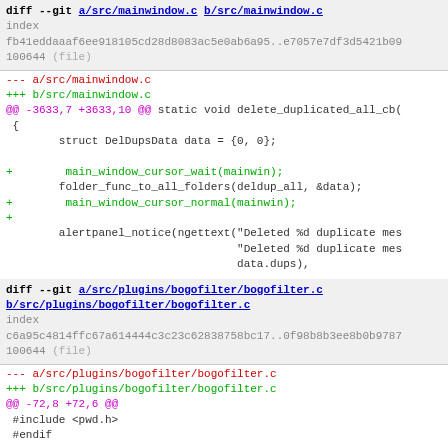[Figure (screenshot): Git diff output showing changes to mainwindow.c and bogofilter.c files. First diff: a/src/mainwindow.c to b/src/mainwindow.c, hunk @@ -3633,7 +3633,10 @@ static void delete_duplicated_all_cb(), adding main_window_cursor_wait, main_window_cursor_normal calls and blank line. Second diff: a/src/plugins/bogofilter/bogofilter.c to b/src/plugins/bogofilter/bogofilter.c, hunk @@ -72,8 +72,6 @@, context #include <pwd.h> and #endif, removing -#define MAILS_PER_BATCH 20.]